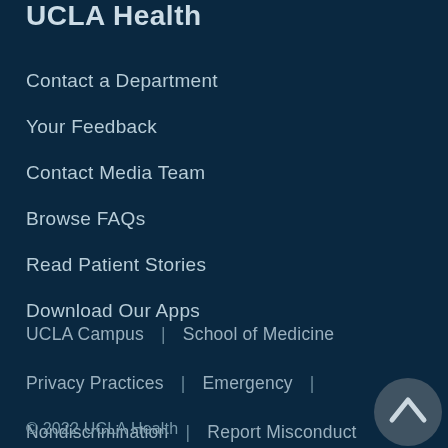UCLA Health
Contact a Department
Your Feedback
Contact Media Team
Browse FAQs
Read Patient Stories
Download Our Apps
UCLA Campus  |  School of Medicine
Privacy Practices  |  Emergency  |
Nondiscrimination  |  Report Misconduct
© 2022 UCLA Health